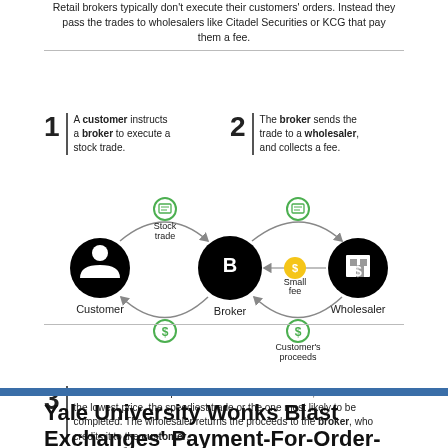Retail brokers typically don't execute their customers' orders. Instead they pass the trades to wholesalers like Citadel Securities or KCG that pay them a fee.
[Figure (infographic): Step-by-step infographic showing payment-for-order-flow process. Step 1: A customer instructs a broker to execute a stock trade. Step 2: The broker sends the trade to a wholesaler, and collects a fee. Diagram shows circular flow between Customer, Broker, and Wholesaler with labeled arrows for Stock trade, Small fee, and Customer's proceeds. Step 3: The wholesaler is required to find the 'best execution,' which could mean the lowest price, the speediest trade or the one most likely to be completed. The wholesaler returns the proceeds to the broker, who credits it to the customer.]
Yale University Wonks Blast Exchanges' Payment-For-Order-Flow Schemes
In Global Macro Strategy > By MarketsMuse Curator